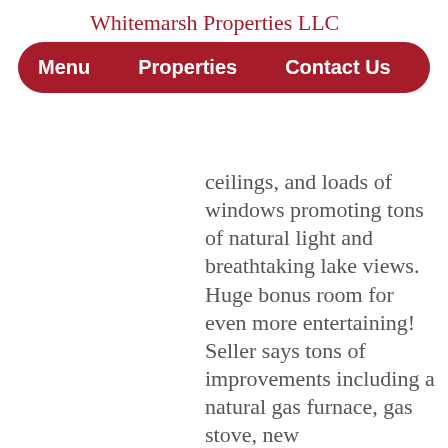Whitemarsh Properties LLC
Menu   Properties   Contact Us
ceilings, and loads of windows promoting tons of natural light and breathtaking lake views. Huge bonus room for even more entertaining! Seller says tons of improvements including a natural gas furnace, gas stove, new